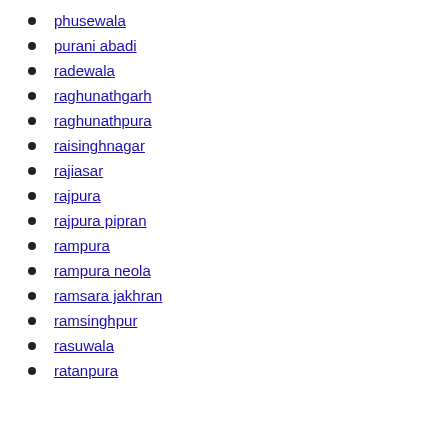phusewala
purani abadi
radewala
raghunathgarh
raghunathpura
raisinghnagar
rajiasar
rajpura
rajpura pipran
rampura
rampura neola
ramsara jakhran
ramsinghpur
rasuwala
ratanpura